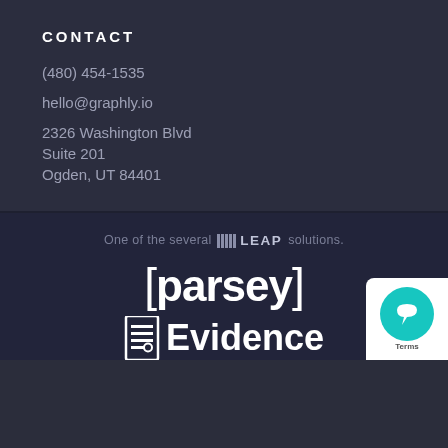CONTACT
(480) 454-1535
hello@graphly.io
2326 Washington Blvd
Suite 201
Ogden, UT 84401
One of the several LEAP solutions.
[Figure (logo): Parsey logo in white text with brackets]
[Figure (logo): Evidence logo with icon]